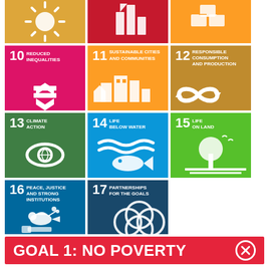[Figure (infographic): UN Sustainable Development Goals icons grid showing SDGs 10-17, with partial tops of earlier goals visible at top. Bottom banner reads GOAL 1: NO POVERTY with a red background and X button.]
GOAL 1: NO POVERTY